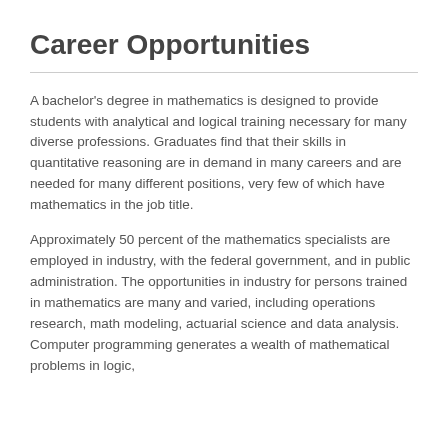Career Opportunities
A bachelor's degree in mathematics is designed to provide students with analytical and logical training necessary for many diverse professions. Graduates find that their skills in quantitative reasoning are in demand in many careers and are needed for many different positions, very few of which have mathematics in the job title.
Approximately 50 percent of the mathematics specialists are employed in industry, with the federal government, and in public administration. The opportunities in industry for persons trained in mathematics are many and varied, including operations research, math modeling, actuarial science and data analysis. Computer programming generates a wealth of mathematical problems in logic,